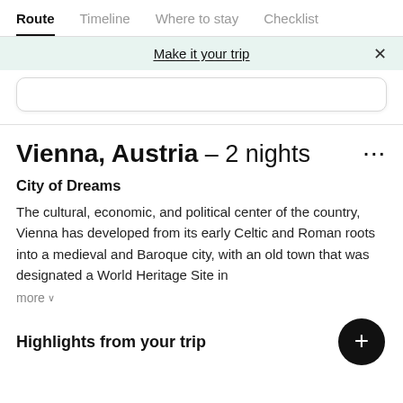Route | Timeline | Where to stay | Checklist
Make it your trip
Vienna, Austria – 2 nights
City of Dreams
The cultural, economic, and political center of the country, Vienna has developed from its early Celtic and Roman roots into a medieval and Baroque city, with an old town that was designated a World Heritage Site in
more
Highlights from your trip